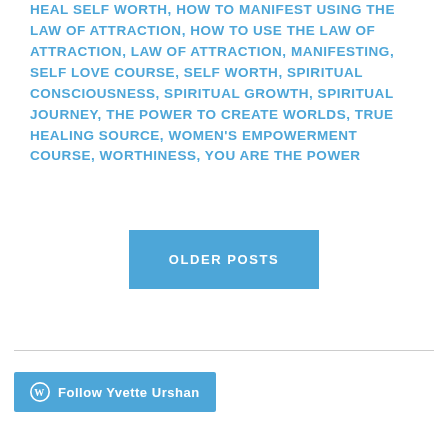HEAL SELF WORTH, HOW TO MANIFEST USING THE LAW OF ATTRACTION, HOW TO USE THE LAW OF ATTRACTION, LAW OF ATTRACTION, MANIFESTING, SELF LOVE COURSE, SELF WORTH, SPIRITUAL CONSCIOUSNESS, SPIRITUAL GROWTH, SPIRITUAL JOURNEY, THE POWER TO CREATE WORLDS, TRUE HEALING SOURCE, WOMEN'S EMPOWERMENT COURSE, WORTHINESS, YOU ARE THE POWER
OLDER POSTS
Follow Yvette Urshan